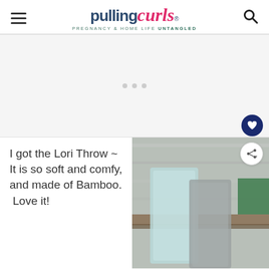pulling curls — PREGNANCY & HOME LIFE UNTANGLED
[Figure (other): Advertisement placeholder area with three small dots]
I got the Lori Throw ~ It is so soft and comfy, and made of Bamboo. Love it!
[Figure (photo): Photo of a light blue bamboo throw blanket draped over a wooden bench against a rustic wall]